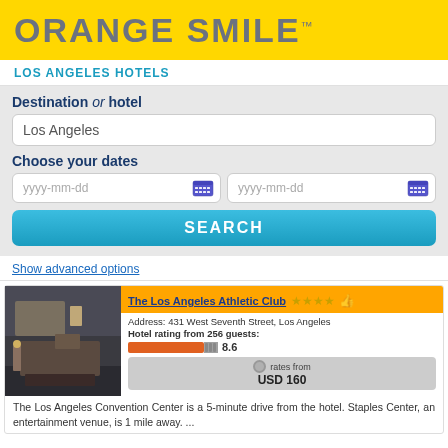[Figure (logo): Orange Smile logo on yellow background]
LOS ANGELES HOTELS
Destination or hotel
Los Angeles
Choose your dates
yyyy-mm-dd
yyyy-mm-dd
SEARCH
Show advanced options
[Figure (photo): Hotel room interior photo]
The Los Angeles Athletic Club ★★★★ 👍
Address: 431 West Seventh Street, Los Angeles
Hotel rating from 256 guests: 8.6
rates from USD 160
The Los Angeles Convention Center is a 5-minute drive from the hotel. Staples Center, an entertainment venue, is 1 mile away. ...